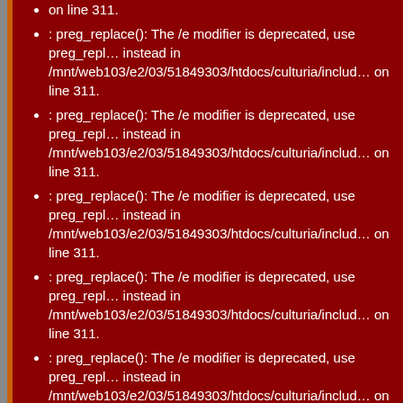on line 311.
: preg_replace(): The /e modifier is deprecated, use preg_replace_callback instead in /mnt/web103/e2/03/51849303/htdocs/culturia/includes/ on line 311.
: preg_replace(): The /e modifier is deprecated, use preg_replace_callback instead in /mnt/web103/e2/03/51849303/htdocs/culturia/includes/ on line 311.
: preg_replace(): The /e modifier is deprecated, use preg_replace_callback instead in /mnt/web103/e2/03/51849303/htdocs/culturia/includes/ on line 311.
: preg_replace(): The /e modifier is deprecated, use preg_replace_callback instead in /mnt/web103/e2/03/51849303/htdocs/culturia/includes/ on line 311.
: preg_replace(): The /e modifier is deprecated, use preg_replace_callback instead in /mnt/web103/e2/03/51849303/htdocs/culturia/includes/ on line 311.
: preg_replace(): The /e modifier is deprecated, use preg_replace_callback instead in /mnt/web103/e2/03/51849303/htdocs/culturia/includes/ on line 311.
: preg_replace(): The /e modifier is deprecated, use preg_replace_callback instead in /mnt/web103/e2/03/51849303/htdocs/culturia/includes/ on line 311.
: preg_replace(): The /e modifier is deprecated, use preg_replace_callback...